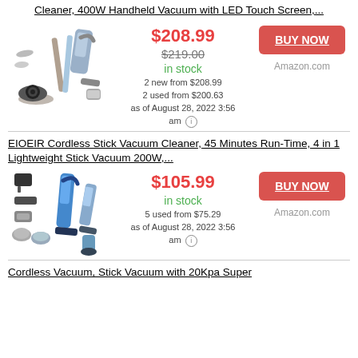Cleaner, 400W Handheld Vacuum with LED Touch Screen,...
[Figure (photo): Cordless stick vacuum cleaner product image showing multiple views/attachments, with metallic/purple design]
$208.99
$219.00
in stock
2 new from $208.99
2 used from $200.63
as of August 28, 2022 3:56 am
BUY NOW
Amazon.com
EIOEIR Cordless Stick Vacuum Cleaner, 45 Minutes Run-Time, 4 in 1 Lightweight Stick Vacuum 200W,...
[Figure (photo): Cordless stick vacuum cleaner EIOEIR product image showing multiple views/attachments, with blue design]
$105.99
in stock
5 used from $75.29
as of August 28, 2022 3:56 am
BUY NOW
Amazon.com
Cordless Vacuum, Stick Vacuum with 20Kpa Super